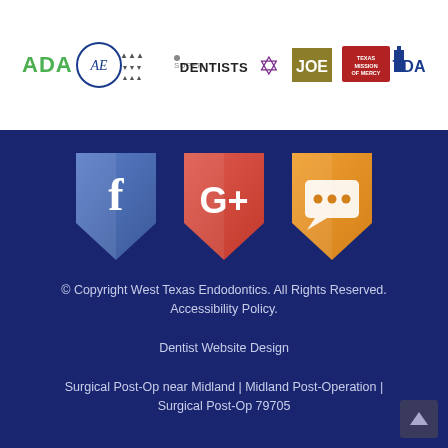[Figure (logo): Row of professional dental association logos: ADA, AE, dental association logo, SuperDentists, Masonic/Star of David, JOE, Texas Mission of Mercy, TDA]
[Figure (infographic): Three shield-shaped social media icons: Facebook (blue), Google+ (red), and a chat/review icon (orange) on dark navy background]
© Copyright West Texas Endodontics. All Rights Reserved. Accessibility Policy.

Dentist Website Design

Surgical Post-Op near Midland | Midland Post-Operation | Surgical Post-Op 79705